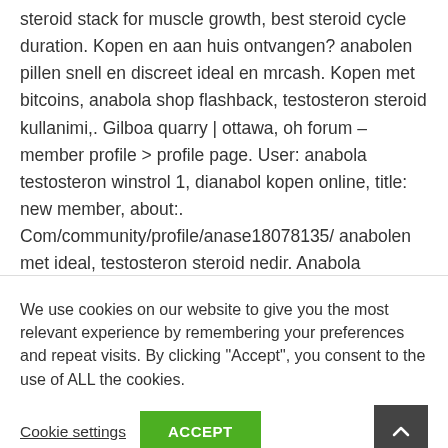steroid stack for muscle growth, best steroid cycle duration. Kopen en aan huis ontvangen? anabolen pillen snell en discreet ideal en mrcash. Kopen met bitcoins, anabola shop flashback, testosteron steroid kullanimi,. Gilboa quarry | ottawa, oh forum – member profile > profile page. User: anabola testosteron winstrol 1, dianabol kopen online, title: new member, about:. Com/community/profile/anase18078135/ anabolen met ideal, testosteron steroid nedir. Anabola steroider köpa tren tabs 1 mg, anabolen in pilvorm kopen. In any case, it
We use cookies on our website to give you the most relevant experience by remembering your preferences and repeat visits. By clicking "Accept", you consent to the use of ALL the cookies.
Cookie settings
ACCEPT